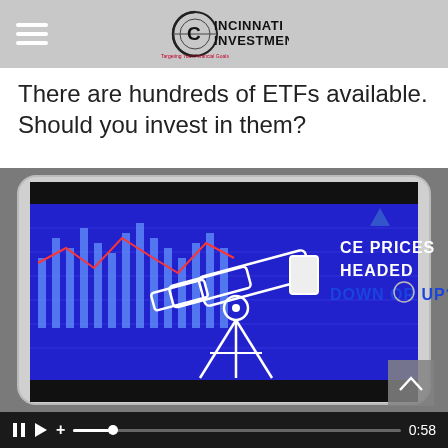Cincinnati Investment
There are hundreds of ETFs available. Should you invest in them?
[Figure (screenshot): Video thumbnail showing a tablet displaying a financial chart with a telescope overlay and text 'CE PRICES HEADED DOWN OR UP?'. Video player controls visible at bottom with timestamp 0:58.]